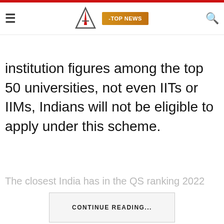≡  [Logo]  -TOP NEWS  🔍
institution figures among the top 50 universities, not even IITs or IIMs, Indians will not be eligible to apply under this scheme.
The closest India has in the QS ranking 2022
CONTINUE READING...
Tagged:
india
VISA